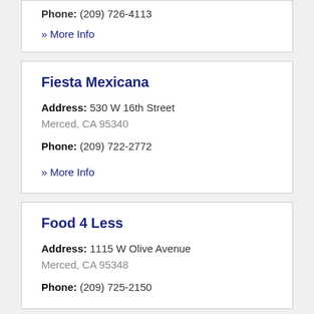Phone: (209) 726-4113
» More Info
Fiesta Mexicana
Address: 530 W 16th Street
Merced, CA 95340
Phone: (209) 722-2772
» More Info
Food 4 Less
Address: 1115 W Olive Avenue
Merced, CA 95348
Phone: (209) 725-2150